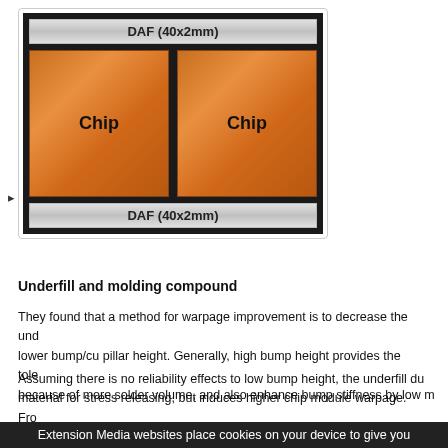[Figure (schematic): Engineering diagram showing two copper 'Chip' blocks side by side between two DAF (40x2mm) bars, all enclosed in a black border. The top and bottom silver gradient bars are labeled 'DAF (40x2mm)' and the two copper-colored rectangles in the middle are labeled 'Chip'.]
Underfill and molding compound
They found that a method for warpage improvement is to decrease the underfill by lower bump/cu pillar height. Generally, high bump height provides the tolerance because of more solder volume, and also enhance bump stiffness by low m...
Assuming there is no reliability effects to low bump height, the underfill dur... material for stress releasing, but induces higher chip module warpage. Fro... volume reduces 31%, the warpage between chip module and substrate ca...
Extension Media websites place cookies on your device to give you